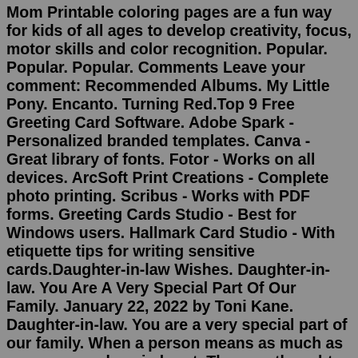Mom Printable coloring pages are a fun way for kids of all ages to develop creativity, focus, motor skills and color recognition. Popular. Popular. Popular. Comments Leave your comment: Recommended Albums. My Little Pony. Encanto. Turning Red.Top 9 Free Greeting Card Software. Adobe Spark - Personalized branded templates. Canva - Great library of fonts. Fotor - Works on all devices. ArcSoft Print Creations - Complete photo printing. Scribus - Works with PDF forms. Greeting Cards Studio - Best for Windows users. Hallmark Card Studio - With etiquette tips for writing sensitive cards.Daughter-in-law Wishes. Daughter-in-law. You Are A Very Special Part Of Our Family. January 22, 2022 by Toni Kane. Daughter-in-law. You are a very special part of our family. When a person means as much as you, one so close in heart. They are thought as family, without the in-law part. - Daughter-in-law Birthday Cards For Facebook. hells angels hackneyxa